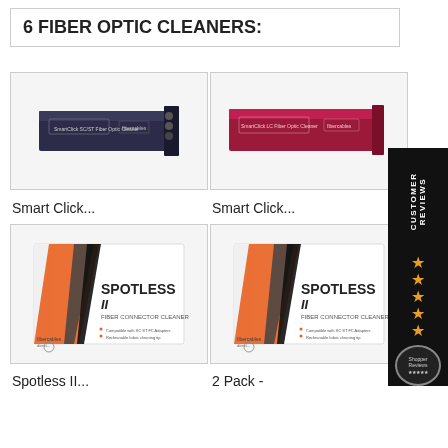6 FIBER OPTIC CLEANERS:
[Figure (photo): SmartClick SC/ST fiber optic cleaner product box (dark navy blue color)]
[Figure (photo): SmartClick LC fiber optic cleaner product box (dark red/magenta color)]
Smart Click...
Smart Click...
[Figure (photo): Spotless II Fiber Connector Cleaner product box (white with orange and dark stripes)]
[Figure (photo): Spotless II Fiber Connector Cleaner product box 2-pack (white with orange and dark stripes)]
Spotless II...
2 Pack -